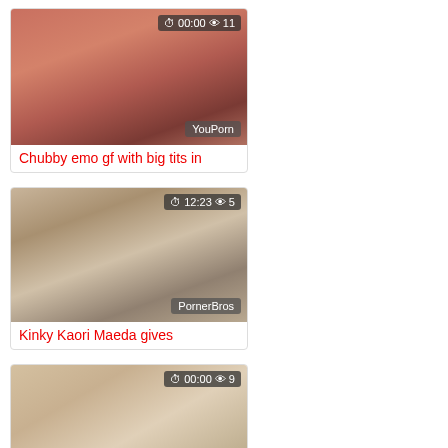[Figure (photo): Video thumbnail card 1 with pink-toned image, overlay showing 00:00 and 11 views, YouPorn watermark]
Chubby emo gf with big tits in
[Figure (photo): Video thumbnail card 2, 12:23 duration and 5 views, PornerBros watermark]
Kinky Kaori Maeda gives
[Figure (photo): Video thumbnail card 3, 00:00 duration and 9 views, partial view]